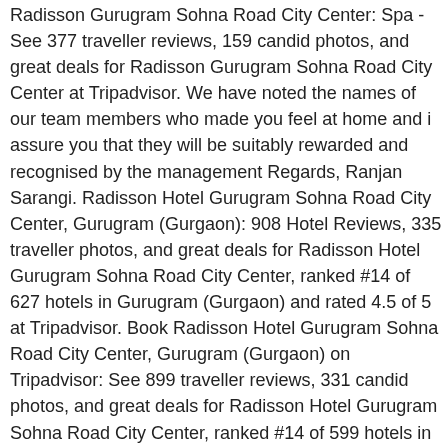Radisson Gurugram Sohna Road City Center: Spa - See 377 traveller reviews, 159 candid photos, and great deals for Radisson Gurugram Sohna Road City Center at Tripadvisor. We have noted the names of our team members who made you feel at home and i assure you that they will be suitably rewarded and recognised by the management Regards, Ranjan Sarangi. Radisson Hotel Gurugram Sohna Road City Center, Gurugram (Gurgaon): 908 Hotel Reviews, 335 traveller photos, and great deals for Radisson Hotel Gurugram Sohna Road City Center, ranked #14 of 627 hotels in Gurugram (Gurgaon) and rated 4.5 of 5 at Tripadvisor. Book Radisson Hotel Gurugram Sohna Road City Center, Gurugram (Gurgaon) on Tripadvisor: See 899 traveller reviews, 331 candid photos, and great deals for Radisson Hotel Gurugram Sohna Road City Center, ranked #14 of 599 hotels in Gurugram (Gurgaon) and rated 4.5 of 5 at Tripadvisor. I am pleased to know that you were satisfied with your experience of our services and facilities. Stay at this 5-star luxury hotel in Gurugram. She know every pressure points of body . The